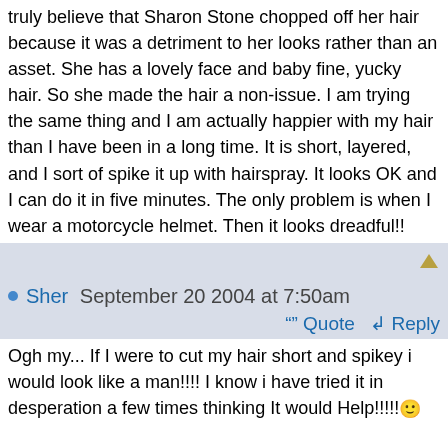truly believe that Sharon Stone chopped off her hair because it was a detriment to her looks rather than an asset. She has a lovely face and baby fine, yucky hair. So she made the hair a non-issue. I am trying the same thing and I am actually happier with my hair than I have been in a long time. It is short, layered, and I sort of spike it up with hairspray. It looks OK and I can do it in five minutes. The only problem is when I wear a motorcycle helmet. Then it looks dreadful!!
Sher September 20 2004 at 7:50am
Ogh my... If I were to cut my hair short and spikey i would look like a man!!!! I know i have tried it in desperation a few times thinking It would Help!!!!!

If you have a square face and a few extra pounds an short cut is just AWEFUL!!!!!!!!!!
Renee September 22 2004 at 3:41am